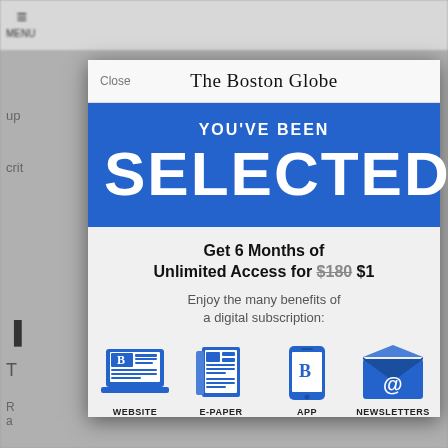[Figure (screenshot): Background of a news website (The Boston Globe) with menu icon and partial article text visible, blurred behind a modal dialog.]
The Boston Globe
YOU'VE BEEN SELECTED
Get 6 Months of Unlimited Access for $180 $1
Enjoy the many benefits of a digital subscription:
[Figure (illustration): Four blue icons representing subscription benefits: WEBSITE (laptop with newspaper), E-PAPER (newspaper/tablet), APP (smartphone with B logo), NEWSLETTERS (envelope with @ symbol)]